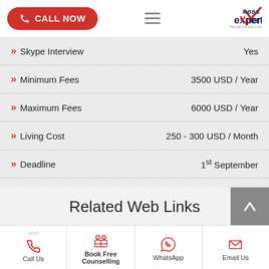CALL NOW | MBBS Experts
Skype Interview — Yes
Minimum Fees — 3500 USD / Year
Maximum Fees — 6000 USD / Year
Living Cost — 250 - 300 USD / Month
Deadline — 1st September
Related Web Links
Call Us | Book Free Counselling | WhatsApp | Email Us